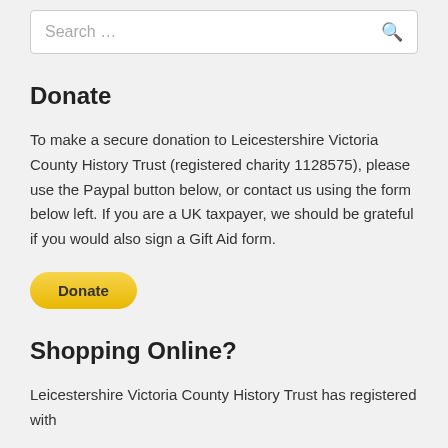[Figure (screenshot): Search bar input field with placeholder text 'Search ...' and a magnifying glass icon on the right]
Donate
To make a secure donation to Leicestershire Victoria County History Trust (registered charity 1128575), please use the Paypal button below, or contact us using the form below left. If you are a UK taxpayer, we should be grateful if you would also sign a Gift Aid form.
[Figure (other): Yellow PayPal Donate button with rounded corners and bold text 'Donate']
Shopping Online?
Leicestershire Victoria County History Trust has registered with